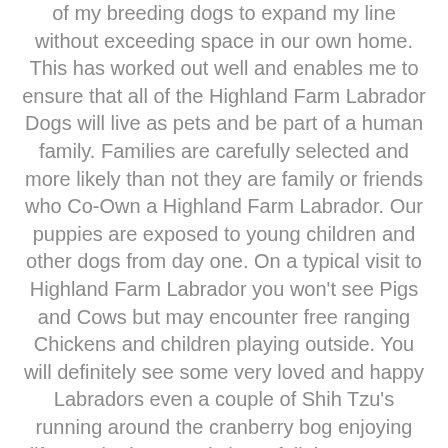of my breeding dogs to expand my line without exceeding space in our own home. This has worked out well and enables me to ensure that all of the Highland Farm Labrador Dogs will live as pets and be part of a human family. Families are carefully selected and more likely than not they are family or friends who Co-Own a Highland Farm Labrador. Our puppies are exposed to young children and other dogs from day one. On a typical visit to Highland Farm Labrador you won't see Pigs and Cows but may encounter free ranging Chickens and children playing outside. You will definitely see some very loved and happy Labradors even a couple of Shih Tzu's running around the cranberry bog enjoying life! We both currently have full time careers but have big plans for our future retirement days. This is not just a business it is a passion!